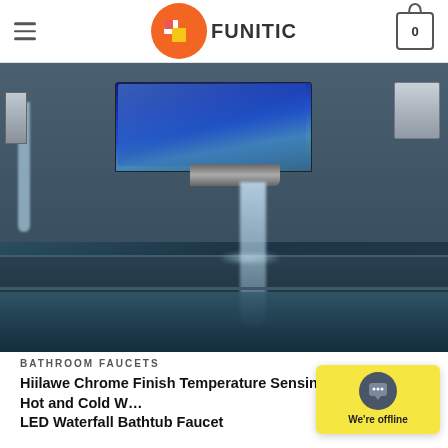FUNITIC
[Figure (photo): A chrome finish LED waterfall bathtub faucet with blue LED lighting illuminating water flowing down into a dark basin. The faucet is a flat rectangular spout mounted on a modern chrome fixture, with water streaming down in a waterfall pattern.]
BATHROOM FAUCETS
Hiilawe Chrome Finish Temperature Sensing Hot and Cold Water LED Waterfall Bathtub Faucet